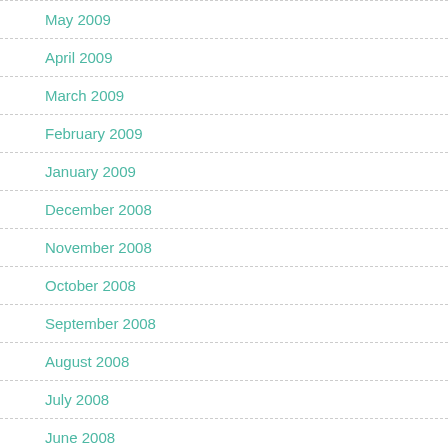May 2009
April 2009
March 2009
February 2009
January 2009
December 2008
November 2008
October 2008
September 2008
August 2008
July 2008
June 2008